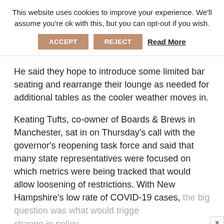This website uses cookies to improve your experience. We'll assume you're ok with this, but you can opt-out if you wish.
ACCEPT   REJECT   Read More
He said they hope to introduce some limited bar seating and rearrange their lounge as needed for additional tables as the cooler weather moves in.
Keating Tufts, co-owner of Boards & Brews in Manchester, sat in on Thursday's call with the governor's reopening task force and said that many state representatives were focused on which metrics were being tracked that would allow loosening of restrictions. With New Hampshire's low rate of COVID-19 cases, the big question was what would trigge change in policy.